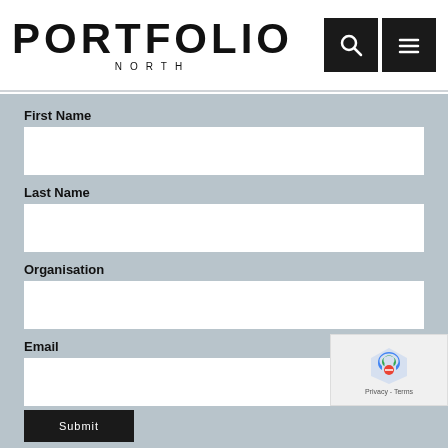PORTFOLIO NORTH
First Name
Last Name
Organisation
Email
[Figure (screenshot): reCAPTCHA badge with Privacy - Terms text]
Submit